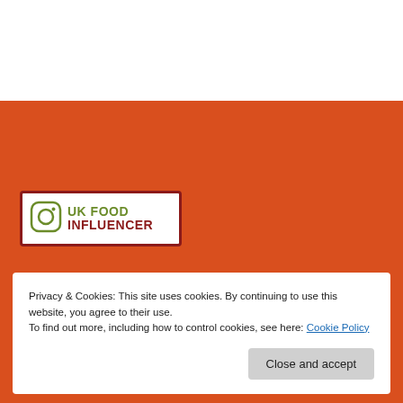[Figure (logo): UK Food Influencer logo with Instagram icon, white background with dark red border. Text: 'UK FOOD' in olive green and 'INFLUENCER' in dark red.]
Privacy & Cookies: This site uses cookies. By continuing to use this website, you agree to their use.
To find out more, including how to control cookies, see here: Cookie Policy
Close and accept